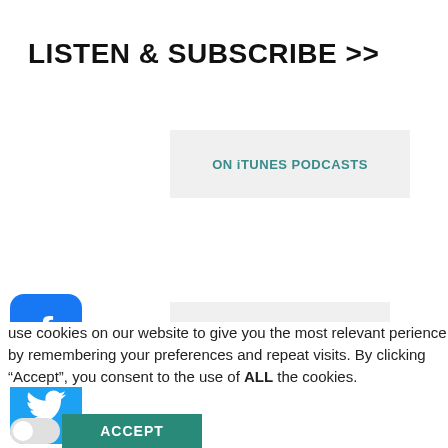LISTEN & SUBSCRIBE >>
ON iTUNES PODCASTS
[Figure (logo): Facebook logo icon - blue rounded square with white f]
ON SPOTIFY
[Figure (logo): Twitter logo icon - blue rounded square with white bird]
use cookies on our website to give you the most relevant perience by remembering your preferences and repeat visits. By clicking “Accept”, you consent to the use of ALL the cookies.
ACCEPT